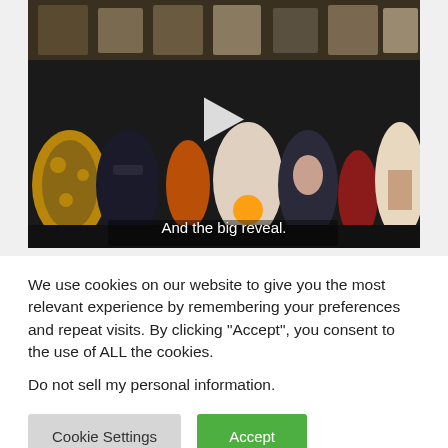[Figure (screenshot): Video thumbnail showing a group of comic book-style superhero characters standing together at what appears to be a convention table with artwork displayed. A white play button triangle is centered on the image. A subtitle reads 'And the big reveal.' at the bottom.]
We use cookies on our website to give you the most relevant experience by remembering your preferences and repeat visits. By clicking “Accept”, you consent to the use of ALL the cookies.
Do not sell my personal information.
Cookie Settings
Accept